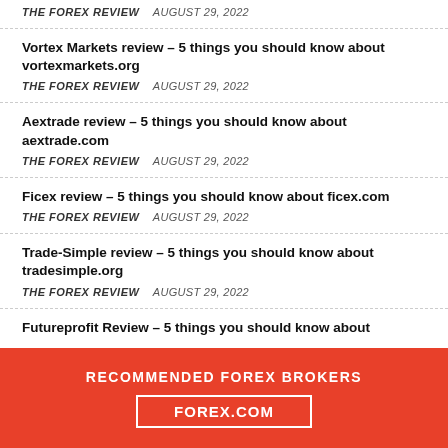THE FOREX REVIEW   AUGUST 29, 2022
Vortex Markets review – 5 things you should know about vortexmarkets.org
THE FOREX REVIEW   AUGUST 29, 2022
Aextrade review – 5 things you should know about aextrade.com
THE FOREX REVIEW   AUGUST 29, 2022
Ficex review – 5 things you should know about ficex.com
THE FOREX REVIEW   AUGUST 29, 2022
Trade-Simple review – 5 things you should know about tradesimple.org
THE FOREX REVIEW   AUGUST 29, 2022
Futureprofit Review – 5 things you should know about futureprofit...
RECOMMENDED FOREX BROKERS
FOREX.COM